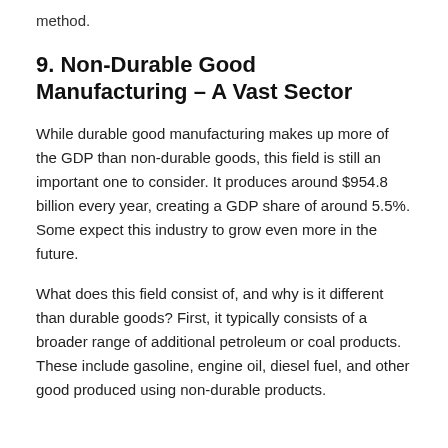method.
9. Non-Durable Good Manufacturing – A Vast Sector
While durable good manufacturing makes up more of the GDP than non-durable goods, this field is still an important one to consider. It produces around $954.8 billion every year, creating a GDP share of around 5.5%. Some expect this industry to grow even more in the future.
What does this field consist of, and why is it different than durable goods? First, it typically consists of a broader range of additional petroleum or coal products. These include gasoline, engine oil, diesel fuel, and other good produced using non-durable products.